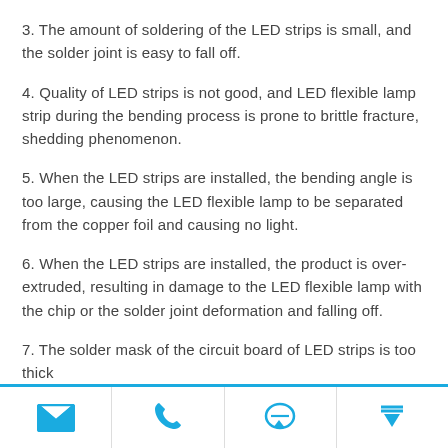3. The amount of soldering of the LED strips is small, and the solder joint is easy to fall off.
4. Quality of LED strips is not good, and LED flexible lamp strip during the bending process is prone to brittle fracture, shedding phenomenon.
5. When the LED strips are installed, the bending angle is too large, causing the LED flexible lamp to be separated from the copper foil and causing no light.
6. When the LED strips are installed, the product is over-extruded, resulting in damage to the LED flexible lamp with the chip or the solder joint deformation and falling off.
7. The solder mask of the circuit board of LED strips is too thick
[email icon] [phone icon] [chat icon] [top icon]